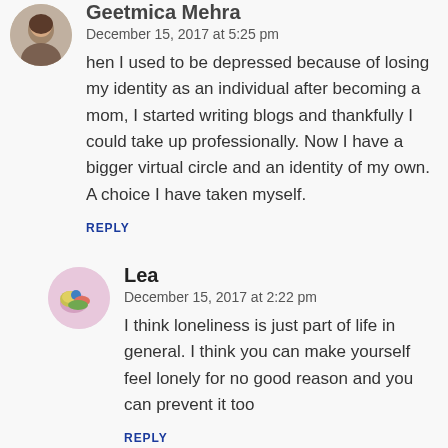[Figure (photo): Circular avatar photo of Geetmica Mehra, a woman]
Geetmica Mehra
December 15, 2017 at 5:25 pm
hen I used to be depressed because of losing my identity as an individual after becoming a mom, I started writing blogs and thankfully I could take up professionally. Now I have a bigger virtual circle and an identity of my own. A choice I have taken myself.
REPLY
[Figure (illustration): Circular avatar of Lea with a colorful bird illustration on pink background]
Lea
December 15, 2017 at 2:22 pm
I think loneliness is just part of life in general. I think you can make yourself feel lonely for no good reason and you can prevent it too
REPLY
[Figure (photo): Partial circular avatar of Neha Sharma at bottom of page]
Neha Sharma